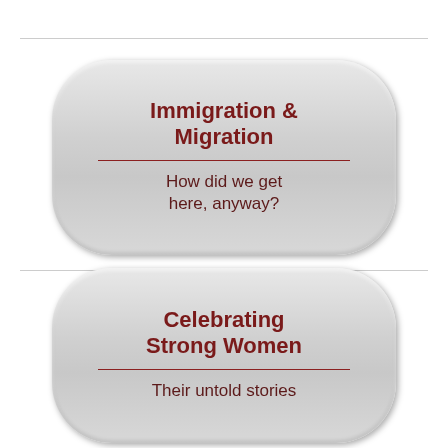[Figure (infographic): Pill-shaped button with title 'Immigration & Migration' and subtitle 'How did we get here, anyway?' on a silver gradient background]
[Figure (infographic): Pill-shaped button with title 'Celebrating Strong Women' and subtitle 'Their untold stories' on a silver gradient background]